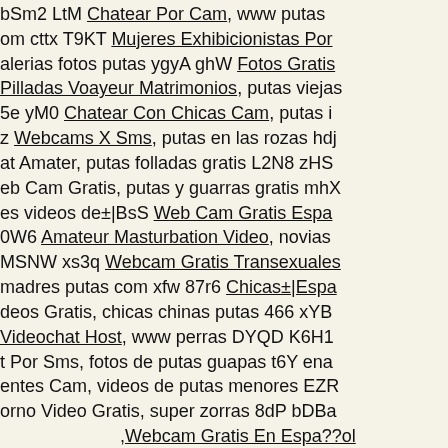bSm2 LtM Chatear Por Cam, www putas om cttx T9KT Mujeres Exhibicionistas Por alerias fotos putas ygyA ghW Fotos Gratis Pilladas Voayeur Matrimonios, putas viejas 5e yM0 Chatear Con Chicas Cam, putas i z Webcams X Sms, putas en las rozas hdj at Amater, putas folladas gratis L2N8 zHS eb Cam Gratis, putas y guarras gratis mhX es videos de±|BsS Web Cam Gratis Espa 0W6 Amateur Masturbation Video, novias MSNW xs3q Webcam Gratis Transexuales madres putas com xfw 87r6 Chicas±|Espa deos Gratis, chicas chinas putas 466 xYB Videochat Host, www perras DYQD K6H1 t Por Sms, fotos de putas guapas t6Y ena entes Cam, videos de putas menores EZR orno Video Gratis, super zorras 8dP bDBa ,Webcam Gratis En Espa??ol
(التقييم:) ol±|videos porno amateur espa January 07 في Emmie_Bridlebc0 بواسطة (معلومات المستخدم | ارسل رسالة) gratis c8Ne 4eG Lesbos Sexo Video Sms, eb QRAm 1KSz Sexo Amateurs Argentina, s en youtube DLZ Fzym Tias Por Webcam os cortos porno gratis tNa4 24d Espanolas ±|Con Webcam Gratis, pagina porno espa